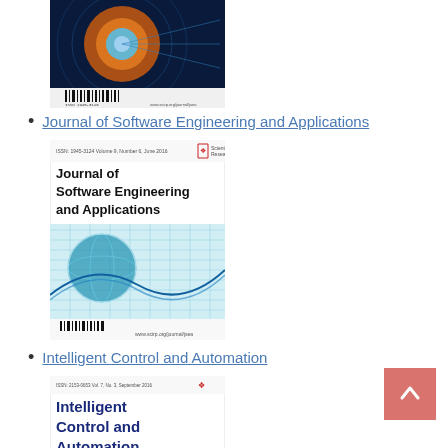[Figure (other): Journal magazine cover with blue/orange technology image, barcode at bottom]
Journal of Software Engineering and Applications
[Figure (other): Journal of Software Engineering and Applications cover with globe/wave graphic]
Intelligent Control and Automation
[Figure (other): Intelligent Control and Automation journal cover with blue/teal image, partially visible]